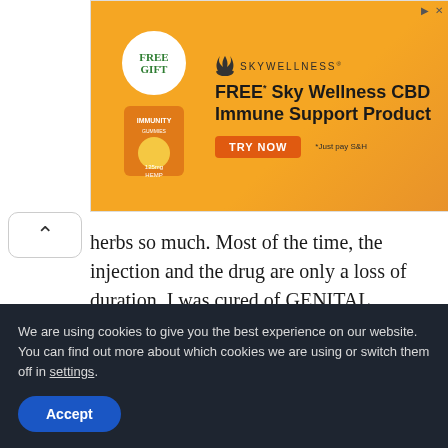[Figure (screenshot): Orange advertisement banner for SkyWellness CBD Immune Support Product with Free Gift offer and Try Now button]
herbs so much. Most of the time, the injection and the drug are only a loss of duration. I was cured of GENITAL HERPES last year with the use of herbs, I suffered from GENITAL HERPES  for 13 years, but with the help of DR. Hazim Usman Herbal Medicine, I was cured in a few weeks of using the herbs
We are using cookies to give you the best experience on our website. You can find out more about which cookies we are using or switch them off in settings.